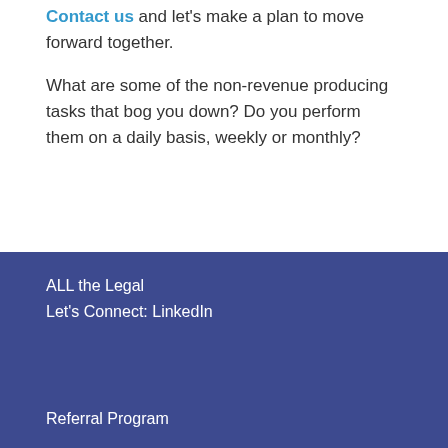Contact us and let's make a plan to move forward together.
What are some of the non-revenue producing tasks that bog you down? Do you perform them on a daily basis, weekly or monthly?
ALL the Legal
Let's Connect: LinkedIn

Referral Program